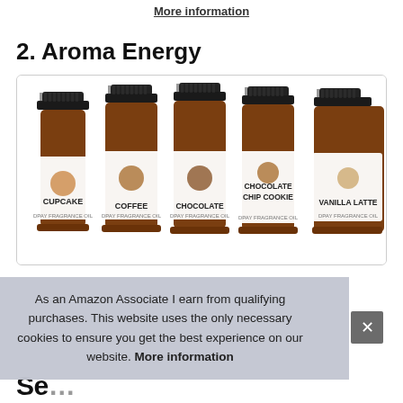More information
2. Aroma Energy
[Figure (photo): Five amber glass fragrance oil bottles with black caps labeled: Cupcake, Coffee, Chocolate, Chocolate Chip Cookie, Vanilla Latte, arranged side by side.]
As an Amazon Associate I earn from qualifying purchases. This website uses the only necessary cookies to ensure you get the best experience on our website. More information
Se...